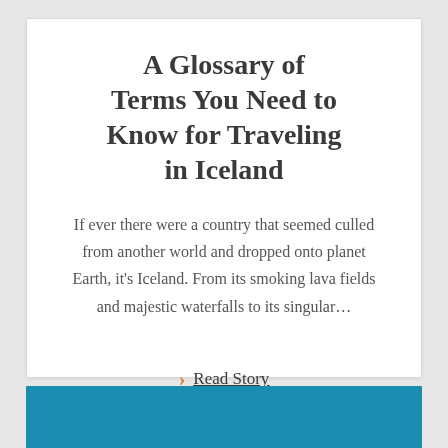A Glossary of Terms You Need to Know for Traveling in Iceland
If ever there were a country that seemed culled from another world and dropped onto planet Earth, it's Iceland. From its smoking lava fields and majestic waterfalls to its singular…
Read Story